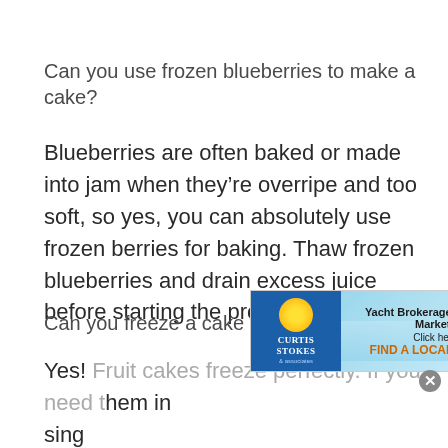Can you use frozen blueberries to make a cake?
Blueberries are often baked or made into jam when they’re overripe and too soft, so yes, you can absolutely use frozen berries for baking. Thaw frozen blueberries and drain excess juice before starting the process.
Can you freeze a cake with fresh fruit?
Yes! Fruit cakes freeze perfectly. If you need them in sing completely before you start cutting and packing
[Figure (advertisement): Curtis Stokes yacht brokerage advertisement with logo, yacht image, and text: Yacht Brokerage • Worldwide Marketing, Click here to FIND A LOCAL BROKER!]